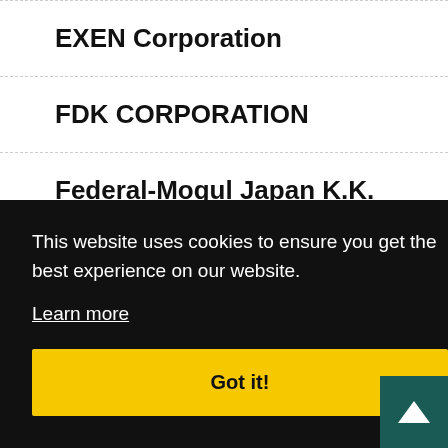EXEN Corporation
FDK CORPORATION
Federal-Mogul Japan K.K.
FORUM8 Co., Ltd.
This website uses cookies to ensure you get the best experience on our website.
Learn more
Got it!